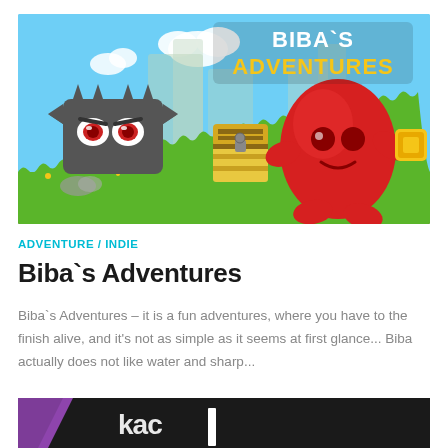[Figure (illustration): Game screenshot/banner for Biba's Adventures showing a red blob character holding a gold coin, a spiky dark enemy, a treasure chest, green ground, and 'BIBA'S ADVENTURES' text logo on a sky blue background]
ADVENTURE / INDIE
Biba`s Adventures
Biba`s Adventures – it is a fun adventures, where you have to the finish alive, and it's not as simple as it seems at first glance... Biba actually does not like water and sharp...
[Figure (screenshot): Partial bottom banner image for another game, dark background with purple diagonal element and partial white text logo visible]